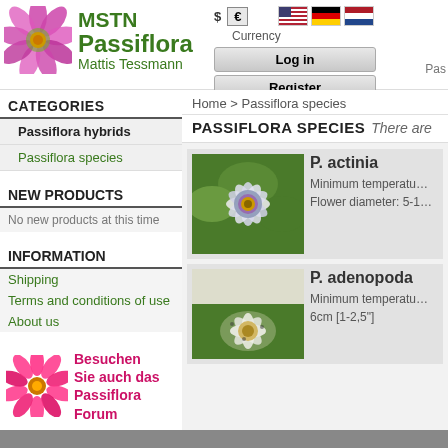MSTN Passiflora Mattis Tessmann — website header with logo, currency selector, login/register buttons and flag navigation
CATEGORIES
Passiflora hybrids
Passiflora species
NEW PRODUCTS
No new products at this time
INFORMATION
Shipping
Terms and conditions of use
About us
[Figure (illustration): Pink passiflora flower with text: Besuchen Sie auch das Passiflora Forum]
Home > Passiflora species
PASSIFLORA SPECIES   There are
[Figure (photo): Passiflora actinia flower — close-up of purple and white flower with green leaves]
P. actinia
Minimum temperatu… Flower diameter: 5-1…
[Figure (photo): Passiflora adenopoda flower — close-up macro photo]
P. adenopoda
Minimum temperatu… 6cm [1-2,5"]